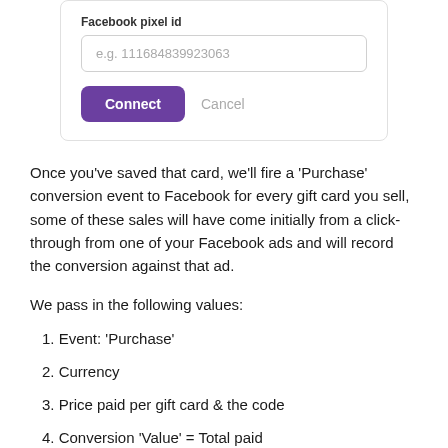[Figure (screenshot): UI card with 'Facebook pixel id' input field showing placeholder 'e.g. 111684839923063', a purple 'Connect' button, and a grey 'Cancel' link]
Once you've saved that card, we'll fire a 'Purchase' conversion event to Facebook for every gift card you sell, some of these sales will have come initially from a click-through from one of your Facebook ads and will record the conversion against that ad.
We pass in the following values:
1. Event: 'Purchase'
2. Currency
3. Price paid per gift card & the code
4. Conversion 'Value' = Total paid